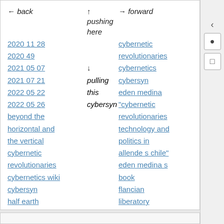| ← back | ↑ pushing here | → forward |
| --- | --- | --- |
| 2020 11 28 |  | cybernetic revolutionaries |
| 2020 49 |  |  |
| 2021 05 07 | ↓ | cybernetics |
| 2021 07 21 | pulling | cybersyn |
| 2022 05 22 | this | eden medina |
| 2022 05 26 | cybersyn | "cybernetic revolutionaries technology and politics in allende s chile" |
| beyond the horizontal and the vertical cybernetic revolutionaries cybernetics wiki cybersyn half earth socialism |  | eden medina s book flancian liberatory technology |